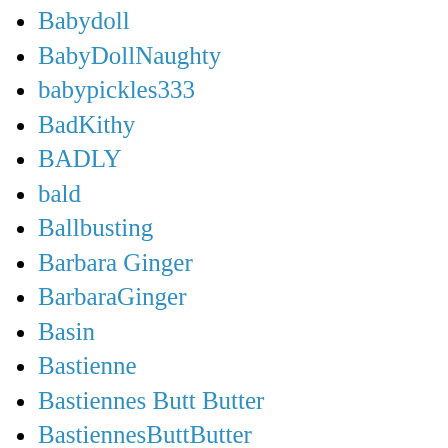Babydoll
BabyDollNaughty
babypickles333
BadKithy
BADLY
bald
Ballbusting
Barbara Ginger
BarbaraGinger
Basin
Bastienne
Bastiennes Butt Butter
BastiennesButtButter
Bath
Bath Enema
bathroom